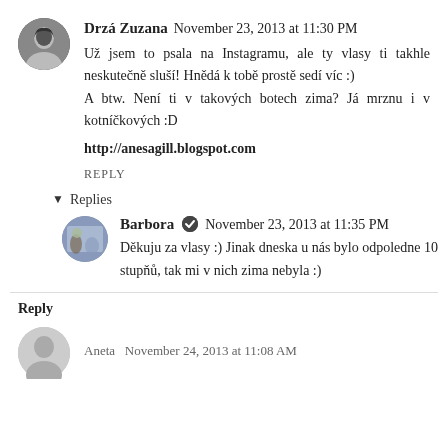Drzá Zuzana  November 23, 2013 at 11:30 PM
Už jsem to psala na Instagramu, ale ty vlasy ti takhle neskutečně sluší! Hnědá k tobě prostě sedí víc :)
A btw. Není ti v takových botech zima? Já mrznu i v kotníčkových :D
http://anesagill.blogspot.com
REPLY
Replies
Barbora  November 23, 2013 at 11:35 PM
Děkuju za vlasy :) Jinak dneska u nás bylo odpoledne 10 stupňů, tak mi v nich zima nebyla :)
Reply
Aneta  November 24, 2013 at 11:08 AM